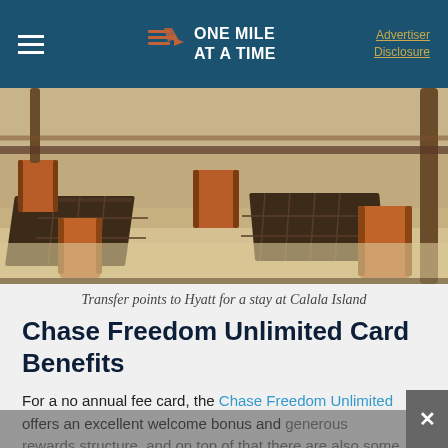ONE MILE AT A TIME | Advertiser Disclosure
[Figure (photo): Outdoor beach dining area with wooden tables and orange folding chairs on white sand, with palm trees in the background at Calala Island]
Transfer points to Hyatt for a stay at Calala Island
Chase Freedom Unlimited Card Benefits
For a no annual fee card, the Chase Freedom Unlimited offers an excellent welcome bonus and generous rewards structure, and on top of that there are also some perks that are potentially useful.